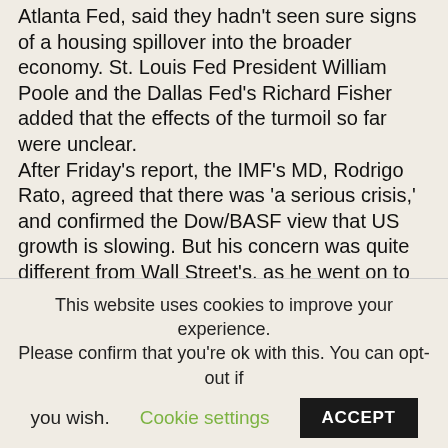Atlanta Fed, said they hadn't seen sure signs of a housing spillover into the broader economy. St. Louis Fed President William Poole and the Dallas Fed's Richard Fisher added that the effects of the turmoil so far were unclear.
After Friday's report, the IMF's MD, Rodrigo Rato, agreed that there was 'a serious crisis,' and confirmed the Dow/BASF view that US growth is slowing. But his concern was quite different from Wall Street's, as he went on to warn that that the real problem is that 'systemically important banks may face constraints in extending credit.'
I share Rato's view that the current US subprime lending crisis is about concerns over return of capital, not return on capital. Would cutting rates encourage
This website uses cookies to improve your experience. Please confirm that you're ok with this. You can opt-out if you wish. Cookie settings ACCEPT